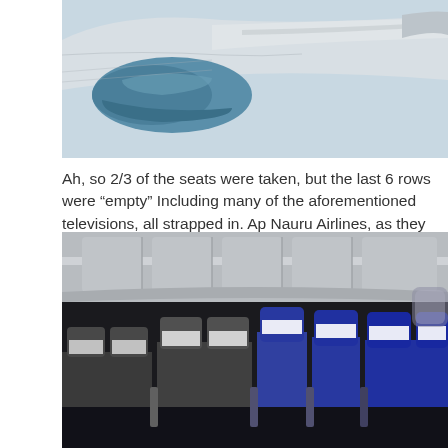[Figure (photo): Aerial photo of aircraft engine and wing from passenger window, showing blue engine nacelle and grey wing surfaces against light sky]
Ah, so 2/3 of the seats were taken, but the last 6 rows were “empty” Including many of the aforementioned televisions, all strapped in. Ap Nauru Airlines, as they had it down to a science:
[Figure (photo): Interior of airplane showing empty rows of seats with blue and white headrests/covers, dim cabin lighting overhead]